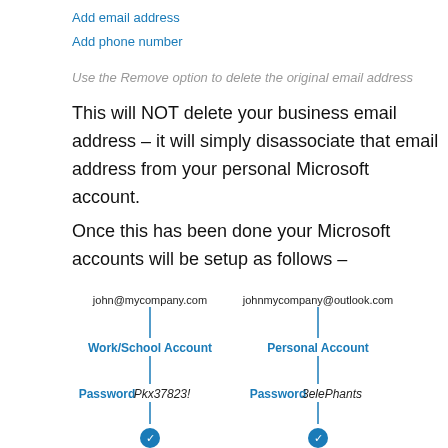Add email address
Add phone number
Use the Remove option to delete the original email address
This will NOT delete your business email address – it will simply disassociate that email address from your personal Microsoft account.
Once this has been done your Microsoft accounts will be setup as follows –
[Figure (flowchart): Two parallel account trees. Left: john@mycompany.com → Work/School Account → Password Pkx37823! → (icon). Right: johnmycompany@outlook.com → Personal Account → Password 3elePhants → (icon).]